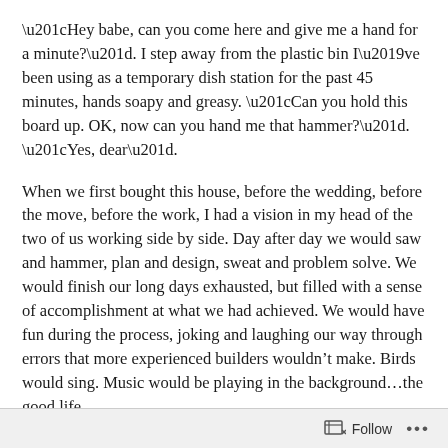“Hey babe, can you come here and give me a hand for a minute?”. I step away from the plastic bin I’ve been using as a temporary dish station for the past 45 minutes, hands soapy and greasy. “Can you hold this board up. OK, now can you hand me that hammer?”. “Yes, dear”.
When we first bought this house, before the wedding, before the move, before the work, I had a vision in my head of the two of us working side by side. Day after day we would saw and hammer, plan and design, sweat and problem solve. We would finish our long days exhausted, but filled with a sense of accomplishment at what we had achieved. We would have fun during the process, joking and laughing our way through errors that more experienced builders wouldn’t make. Birds would sing. Music would be playing in the background…the good life.
I can see you shaking your head. Those of you who are long-
Follow •••